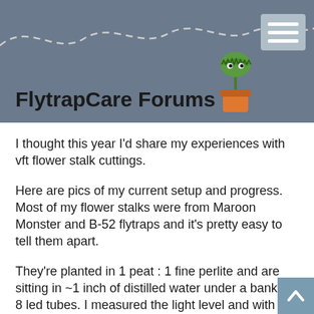FlytrapCare Forums
I thought this year I'd share my experiences with vft flower stalk cuttings.
Here are pics of my current setup and progress. Most of my flower stalks were from Maroon Monster and B-52 flytraps and it's pretty easy to tell them apart.
They're planted in 1 peat : 1 fine perlite and are sitting in ~1 inch of distilled water under a bank of 8 led tubes. I measured the light level and with my 16 hour day it's coming in at 15 DLI, which should be plenty bright to satisfy